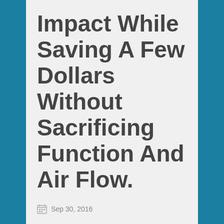Impact While Saving A Few Dollars Without Sacrificing Function And Air Flow.
Sep 30, 2016
Additionally, as we mentioned if the replacement window matches in size,